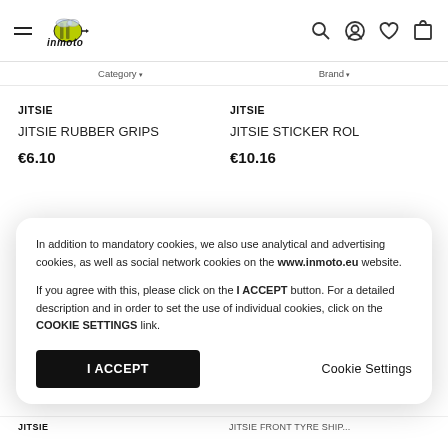inmoto — navigation header with logo, search, account, wishlist, cart icons
JITSIE
JITSIE RUBBER GRIPS
€6.10
JITSIE
JITSIE STICKER ROL
€10.16
In addition to mandatory cookies, we also use analytical and advertising cookies, as well as social network cookies on the www.inmoto.eu website. If you agree with this, please click on the I ACCEPT button. For a detailed description and in order to set the use of individual cookies, click on the COOKIE SETTINGS link.
I ACCEPT
Cookie Settings
JITSIE
JITSIE FRONT TYRE SHIP